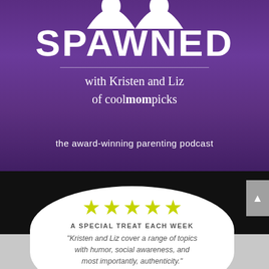[Figure (illustration): Podcast cover art with purple background, two silhouette figures at top, SPAWNED title, subtitle 'with Kristen and Liz of coolmompicks', tagline 'the award-winning parenting podcast', black lower section with speech bubble containing 5 yellow stars, review heading 'A SPECIAL TREAT EACH WEEK', and review quote from Apple Podcasts.]